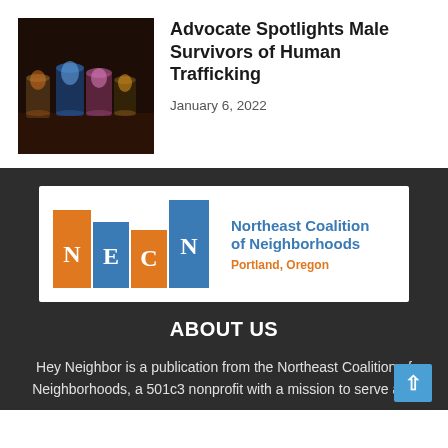[Figure (photo): Photo of colorful candle jars in warm/dim lighting]
Advocate Spotlights Male Survivors of Human Trafficking
January 6, 2022
[Figure (logo): NECN - Northeast Coalition of Neighborhoods Portland, Oregon logo with orange and blue bar chart style columns]
ABOUT US
Hey Neighbor is a publication from the Northeast Coalition of Neighborhoods, a 501c3 nonprofit with a mission to serve and